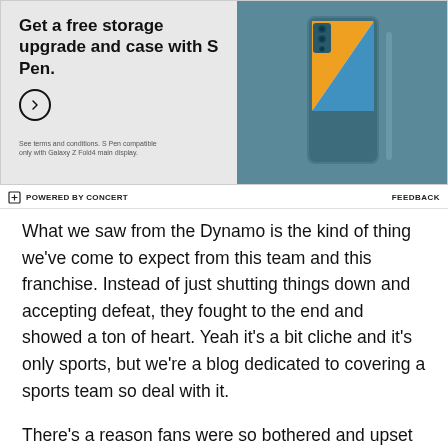[Figure (photo): Samsung Galaxy Z Fold4 advertisement. Text reads 'Get a free storage upgrade and case with S Pen.' with a circular arrow button and fine print. Right side shows teal/blue foldable phone with S Pen against matching colored background.]
POWERED BY CONCERT    FEEDBACK
What we saw from the Dynamo is the kind of thing we've come to expect from this team and this franchise. Instead of just shutting things down and accepting defeat, they fought to the end and showed a ton of heart. Yeah it's a bit cliche and it's only sports, but we're a blog dedicated to covering a sports team so deal with it.
There's a reason fans were so bothered and upset at